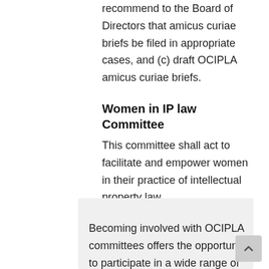recommend to the Board of Directors that amicus curiae briefs be filed in appropriate cases, and (c) draft OCIPLA amicus curiae briefs.
Women in IP law Committee
This committee shall act to facilitate and empower women in their practice of intellectual property law.
Becoming involved with OCIPLA committees offers the opportunity to participate in a wide range of topic areas.